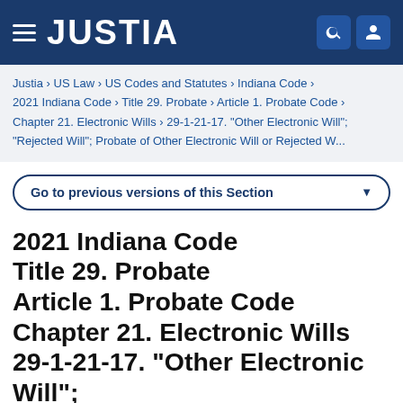JUSTIA
Justia › US Law › US Codes and Statutes › Indiana Code › 2021 Indiana Code › Title 29. Probate › Article 1. Probate Code › Chapter 21. Electronic Wills › 29-1-21-17. "Other Electronic Will"; "Rejected Will"; Probate of Other Electronic Will or Rejected W...
Go to previous versions of this Section
2021 Indiana Code Title 29. Probate Article 1. Probate Code Chapter 21. Electronic Wills 29-1-21-17. "Other Electronic Will"; "Rejected Will"; Probate of Other Electronic Will or Rejected Will